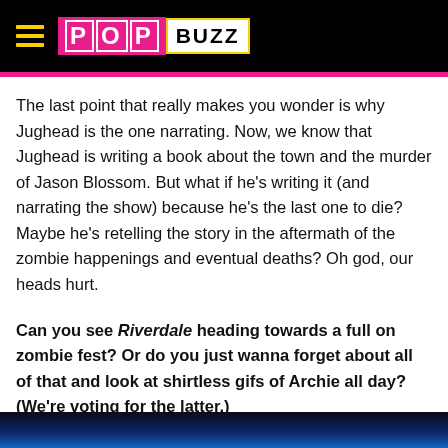PopBuzz
The last point that really makes you wonder is why Jughead is the one narrating. Now, we know that Jughead is writing a book about the town and the murder of Jason Blossom. But what if he's writing it (and narrating the show) because he's the last one to die? Maybe he's retelling the story in the aftermath of the zombie happenings and eventual deaths? Oh god, our heads hurt.
Can you see Riverdale heading towards a full on zombie fest? Or do you just wanna forget about all of that and look at shirtless gifs of Archie all day? (We're voting for the latter.)
[Figure (photo): Bottom strip showing a dark blue/black scene, partial image of what appears to be a Riverdale scene]